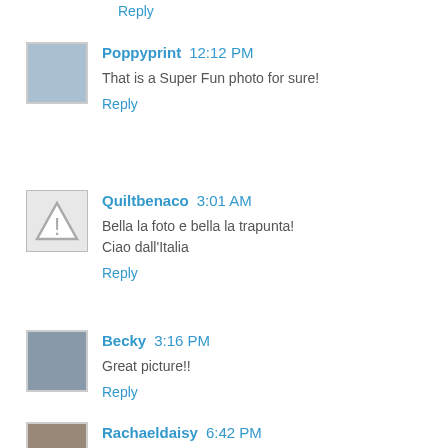Reply
Poppyprint  12:12 PM
That is a Super Fun photo for sure!
Reply
Quiltbenaco  3:01 AM
Bella la foto e bella la trapunta!
Ciao dall'Italia
Reply
Becky  3:16 PM
Great picture!!
Reply
Rachaeldaisy  6:42 PM